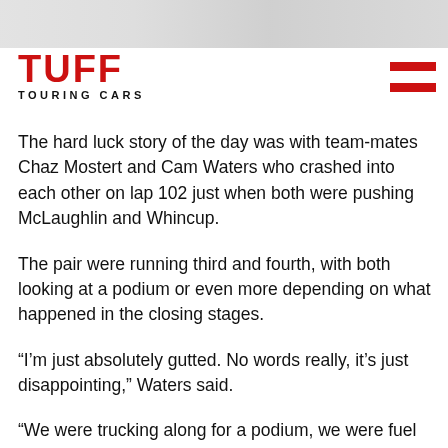[Figure (logo): TUFF TOURING CARS logo with red text and hamburger menu icon]
The hard luck story of the day was with team-mates Chaz Mostert and Cam Waters who crashed into each other on lap 102 just when both were pushing McLaughlin and Whincup.
The pair were running third and fourth, with both looking at a podium or even more depending on what happened in the closing stages.
“I’m just absolutely gutted. No words really, it’s just disappointing,” Waters said.
“We were trucking along for a podium, we were fuel saving